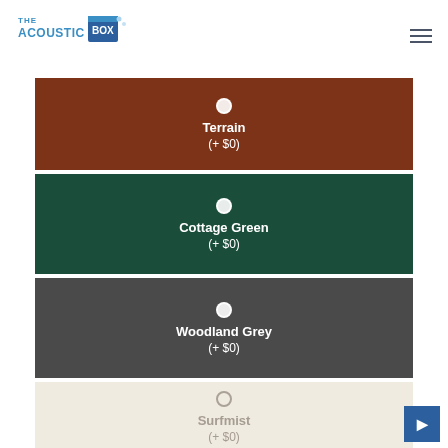The Acoustic Box
Terrain (+ $0)
Cottage Green (+ $0)
Woodland Grey (+ $0)
Surfmist (+ $0)